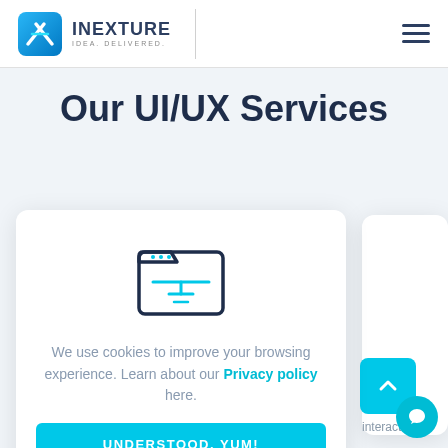INEXTURE IDEA. DELIVERED.
Our UI/UX Services
[Figure (screenshot): Cookie consent modal with browser/folder icon, privacy policy text, and UNDERSTOOD. YUM! button]
We use cookies to improve your browsing experience. Learn about our Privacy policy here.
UNDERSTOOD. YUM!
interact
ens. We